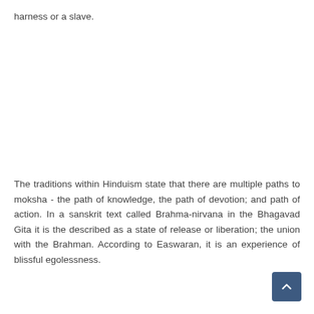harness or a slave.
The traditions within Hinduism state that there are multiple paths to moksha - the path of knowledge, the path of devotion; and path of action. In a sanskrit text called Brahma-nirvana in the Bhagavad Gita it is the described as a state of release or liberation; the union with the Brahman. According to Easwaran, it is an experience of blissful egolessness.